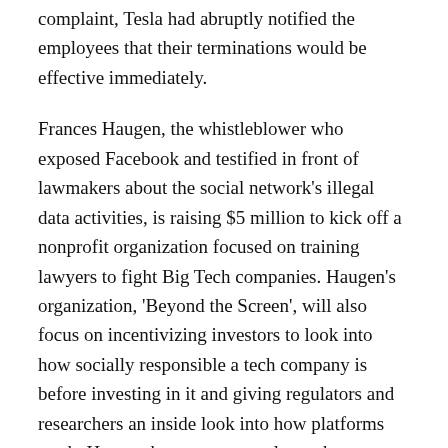complaint, Tesla had abruptly notified the employees that their terminations would be effective immediately.
Frances Haugen, the whistleblower who exposed Facebook and testified in front of lawmakers about the social network's illegal data activities, is raising $5 million to kick off a nonprofit organization focused on training lawyers to fight Big Tech companies. Haugen's organization, 'Beyond the Screen', will also focus on incentivizing investors to look into how socially responsible a tech company is before investing in it and giving regulators and researchers an inside look into how platforms work. Haugen has spent several months testifying to authorities, and has secured some early-stage funding from donors. The former Facebook employee is looking to build a simulated social network, an artificial platform in which regulators, researchers and others can war-game potential scenarios, according to Business Insider.